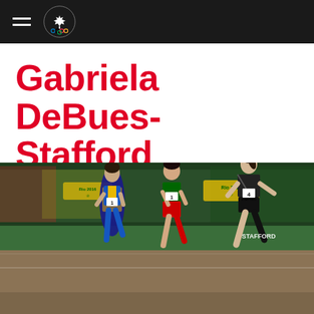Canadian Olympic team navigation header with hamburger menu and Olympic rings logo
Gabriela DeBues-Stafford
[Figure (photo): Action photo of female track runners competing at the 2016 Rio Olympics, including Gabriela DeBues-Stafford wearing a black Nike uniform with bib number 4 and 'STAFFORD' visible, along with other athletes during a middle-distance race on an indoor track]
[Figure (photo): Headshot portrait of Gabriela DeBues-Stafford wearing a red top, smiling, brown hair]